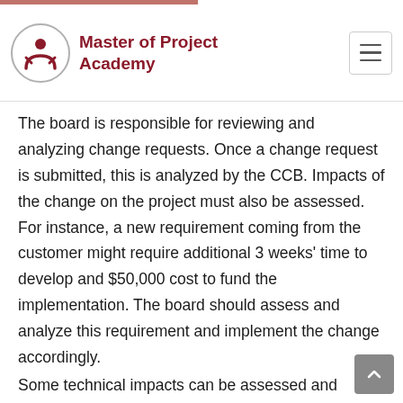Master of Project Academy
The board is responsible for reviewing and analyzing change requests. Once a change request is submitted, this is analyzed by the CCB. Impacts of the change on the project must also be assessed. For instance, a new requirement coming from the customer might require additional 3 weeks' time to develop and $50,000 cost to fund the implementation. The board should assess and analyze this requirement and implement the change accordingly.
Some technical impacts can be assessed and reviewed by the change control board as well